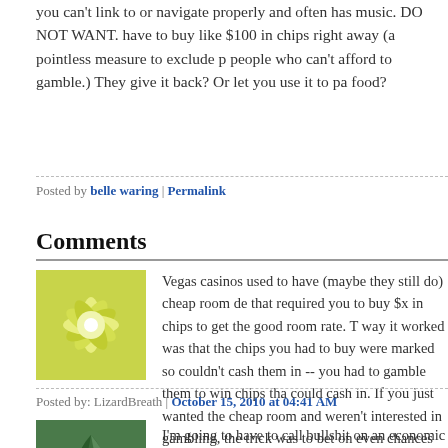you can't link to or navigate properly and often has music. DO NOT WANT. have to buy like $100 in chips right away (a pointless measure to exclude people who can't afford to gamble.) They give it back? Or let you use it to pay food?
Posted by belle waring | Permalink
Comments
Vegas casinos used to have (maybe they still do) cheap room deals that required you to buy $x in chips to get the good room rate. The way it worked was that the chips you had to buy were marked so you couldn't cash them in -- you had to gamble them to win chips that you could cash in. If you just wanted the cheap room and weren't interested in gambling, the trick was to bet on even chances (like on the roulette table), accept that you'd lose a little when the zero came up, and cash in your slightly diminished stake for money after you'd cycled through all your funny chips.
Posted by: LizardBreath | October 15, 2010 at 04:41 AM
I'm going to have to call bullshit on an economic system that rew...